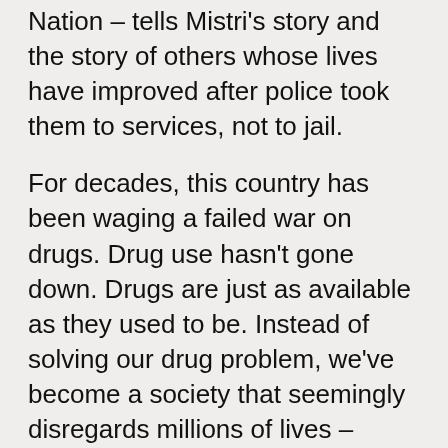Nation – tells Mistri's story and the story of others whose lives have improved after police took them to services, not to jail.
For decades, this country has been waging a failed war on drugs. Drug use hasn't gone down. Drugs are just as available as they used to be. Instead of solving our drug problem, we've become a society that seemingly disregards millions of lives – particularly the lives of black and brown people.
Although the majority of people who use and deliver drugs in Seattle are white, the black drug arrest rate was 13 times higher than the white drug arrest rate in 2006. Aggressive over-policing has ravaged communities. Large swaths